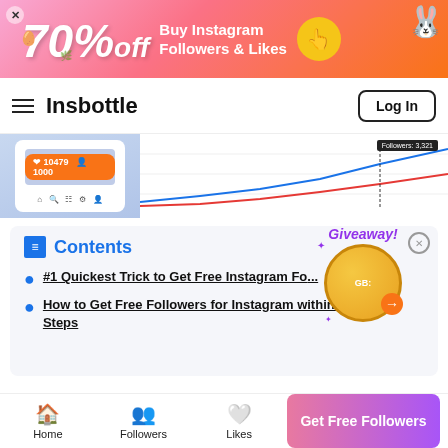[Figure (infographic): Ad banner: 70% off Buy Instagram Followers & Likes with yellow button and Easter rabbit graphic]
Insbottle
[Figure (screenshot): Hero image showing a phone with orange badge showing 10479 likes and 1000 followers, and a line chart showing follower growth]
Contents
#1 Quickest Trick to Get Free Instagram Fo...
How to Get Free Followers for Instagram within 3 Steps
Home | Followers | Likes | Get Free Followers